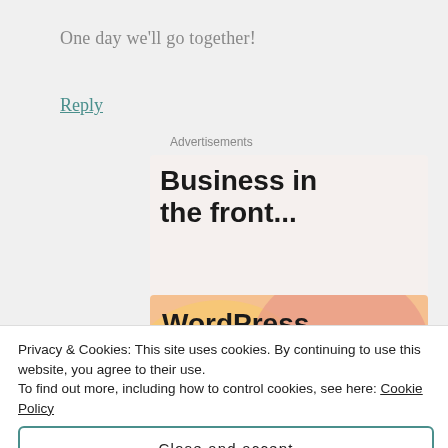One day we'll go together!
Reply
Advertisements
[Figure (illustration): Advertisement for WordPress showing 'Business in the front...' text on light background top section, and 'WordPress in the back.' on colorful peach/pink gradient background bottom section]
Privacy & Cookies: This site uses cookies. By continuing to use this website, you agree to their use.
To find out more, including how to control cookies, see here: Cookie Policy
Close and accept